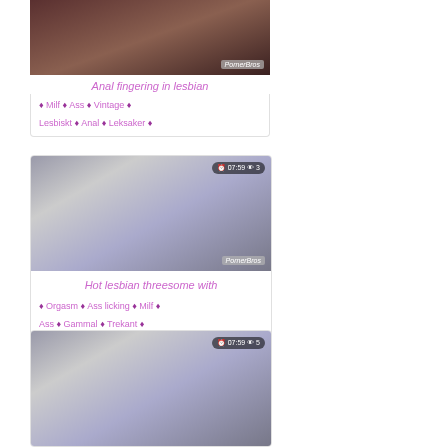[Figure (photo): Video thumbnail - first card (partial at top)]
Anal fingering in lesbian
🏷 Milf 🏷 Ass 🏷 Vintage 🏷 Lesbiskt 🏷 Anal 🏷 Leksaker 🏷
[Figure (photo): Video thumbnail - hot lesbian threesome, 07:59, 3 views]
Hot lesbian threesome with
🏷 Orgasm 🏷 Ass licking 🏷 Milf 🏷 Ass 🏷 Gammal 🏷 Trekant 🏷
[Figure (photo): Video thumbnail - third card, 07:59, 5 views]